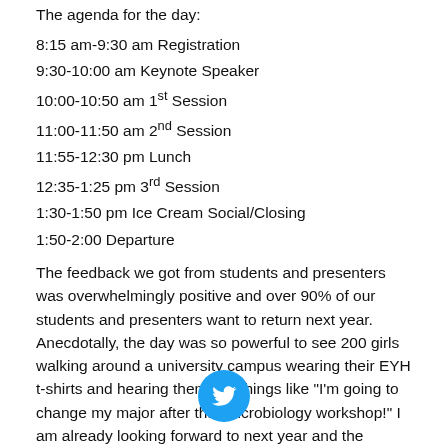The agenda for the day:
8:15 am-9:30 am Registration
9:30-10:00 am Keynote Speaker
10:00-10:50 am 1st Session
11:00-11:50 am 2nd Session
11:55-12:30 pm Lunch
12:35-1:25 pm 3rd Session
1:30-1:50 pm Ice Cream Social/Closing
1:50-2:00 Departure
The feedback we got from students and presenters was overwhelmingly positive and over 90% of our students and presenters want to return next year. Anecdotally, the day was so powerful to see 200 girls walking around a university campus wearing their EYH t-shirts and hearing them say things like "I'm going to change my major after that microbiology workshop!" I am already looking forward to next year and the possibility of offering a Heritage University scholarship to the girls who attend!
[Figure (logo): Twitter bird logo icon, blue circle with white Twitter bird]
Career development practitioners are encouraged to use this example to support STEM efforts in your area. For more information on becoming a conference coordinator: